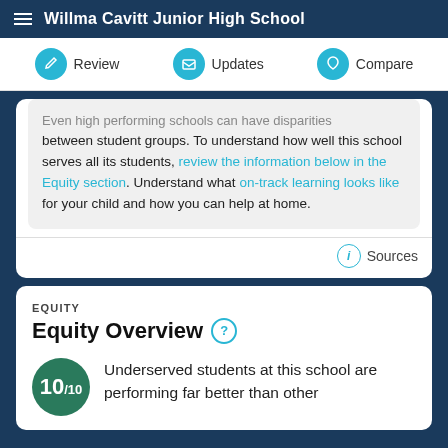Willma Cavitt Junior High School
Review   Updates   Compare
Even high performing schools can have disparities between student groups. To understand how well this school serves all its students, review the information below in the Equity section. Understand what on-track learning looks like for your child and how you can help at home.
Sources
EQUITY
Equity Overview
Underserved students at this school are performing far better than other